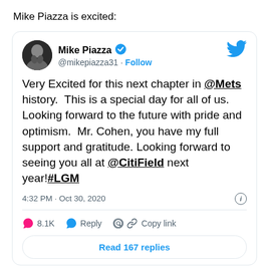Mike Piazza is excited:
[Figure (screenshot): A Twitter/X screenshot showing a tweet by Mike Piazza (@mikepiazza31) with verified badge. Tweet reads: 'Very Excited for this next chapter in @Mets history. This is a special day for all of us. Looking forward to the future with pride and optimism. Mr. Cohen, you have my full support and gratitude. Looking forward to seeing you all at @CitiField next year!#LGM'. Posted at 4:32 PM · Oct 30, 2020. 8.1K likes. Options: Reply, Copy link, Read 167 replies.]